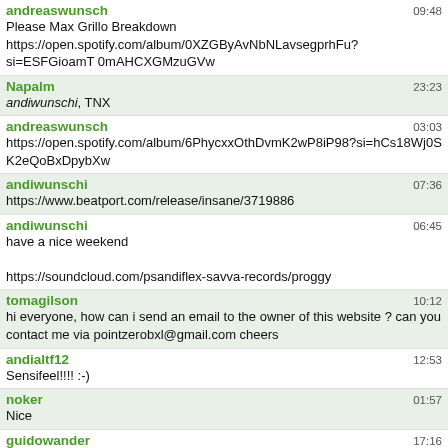andreaswunsch 09:48
Please Max Grillo Breakdown https://open.spotify.com/album/0XZGByAvNbNLavsegprhFu?si=ESFGioamT 0mAHCXGMzuGVw
Napalm 23:23
andiwunschi, TNX
andreaswunsch 03:03
https://open.spotify.com/album/6PhycxxOthDvmK2wP8iP98?si=hCs18Wj0S K2eQoBxDpybXw
andiwunschi 07:36
https://www.beatport.com/release/insane/3719886
andiwunschi 06:45
have a nice weekend

https://soundcloud.com/psandiflex-savva-records/proggy
tomagilson 10:12
hi everyone, how can i send an email to the owner of this website ? can you contact me via pointzerobxl@gmail.com cheers
andialtf12 12:53
Sensifeel!!!! :-)
noker 01:57
Nice
guidowander 17:16
TOOLTIME Space Invasion Next-Level Launch 11 #PSYTRANECE Live Stream